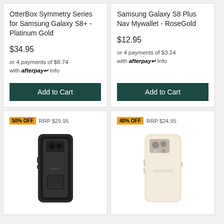OtterBox Symmetry Series for Samsung Galaxy S8+ - Platinum Gold
$34.95
or 4 payments of $8.74 with afterpay Info
Add to Cart
Samsung Galaxy S8 Plus Nav Mywallet - RoseGold
$12.95
or 4 payments of $3.24 with afterpay Info
Add to Cart
50% OFF  RRP $29.95
[Figure (photo): Black rugged phone case for Samsung Galaxy S8]
40% OFF  RRP $24.95
[Figure (photo): Clear/transparent phone case for Samsung Galaxy S8]